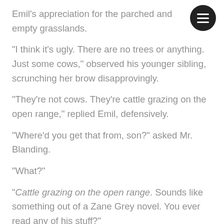Emil's appreciation for the parched and empty grasslands.
"I think it's ugly. There are no trees or anything. Just some cows," observed his younger sibling, scrunching her brow disapprovingly.
"They're not cows. They're cattle grazing on the open range," replied Emil, defensively.
"Where'd you get that from, son?" asked Mr. Blanding.
"What?"
"Cattle grazing on the open range. Sounds like something out of a Zane Grey novel. You ever read any of his stuff?"